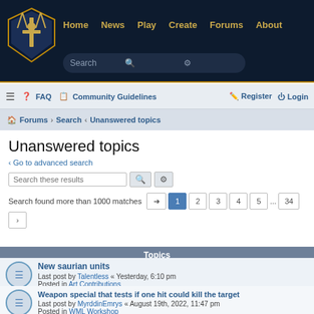[Figure (screenshot): Website header with dark navy background, shield/sword logo, navigation links (Home, News, Play, Create, Forums, About) in gold, and a search bar]
Home  News  Play  Create  Forums  About
≡  FAQ  Community Guidelines  Register  Login
Forums › Search › Unanswered topics
Unanswered topics
‹ Go to advanced search
Search these results
Search found more than 1000 matches  1  2  3  4  5  ...  34  >
Topics
New saurian units
Last post by Talentless « Yesterday, 6:10 pm
Posted in Art Contributions
Weapon special that tests if one hit could kill the target
Last post by MyrddinEmrys « August 19th, 2022, 11:47 pm
Posted in WML Workshop